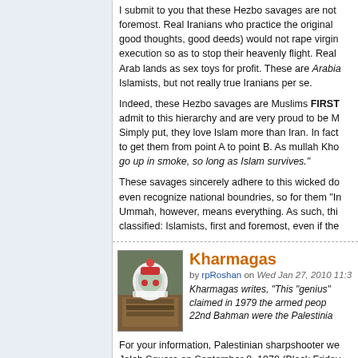I submit to you that these Hezbo savages are not foremost. Real Iranians who practice the original good thoughts, good deeds) would not rape virgin execution so as to stop their heavenly flight. Real Arab lands as sex toys for profit. These are Arabia Islamists, but not really true Iranians per se.
Indeed, these Hezbo savages are Muslims FIRST admit to this hierarchy and are very proud to be M Simply put, they love Islam more than Iran. In fact to get them from point A to point B. As mullah Kho go up in smoke, so long as Islam survives."
These savages sincerely adhere to this wicked do even recognize national boundries, so for them "In Ummah, however, means everything. As such, thi classified: Islamists, first and foremost, even if the
Kharmagas
by rpRoshan on Wed Jan 27, 2010 11:3
Kharmagas writes, "This "genius" claimed in 1979 the armed peop 22nd Bahman were the Palestinia
For your information, Palestinian sharpshooter we Jaleh Square on September 8, 1979 (Black Friday law, Gholam Ali Oveissi. The Palestinians had rem